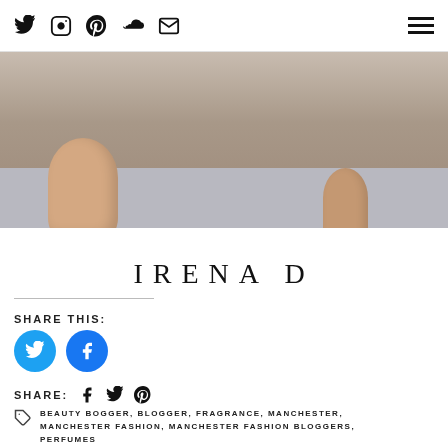Social media icons: Twitter, Instagram, Pinterest, SoundCloud, Email, Hamburger menu
[Figure (photo): Close-up photo of peach/tan rounded perfume bottles on a grey-blue surface]
IRENA D
SHARE THIS:
[Figure (infographic): Twitter and Facebook share buttons as blue circles]
SHARE:
BEAUTY BOGGER, BLOGGER, FRAGRANCE, MANCHESTER, MANCHESTER FASHION, MANCHESTER FASHION BLOGGERS, PERFUMES
MANCHESTER